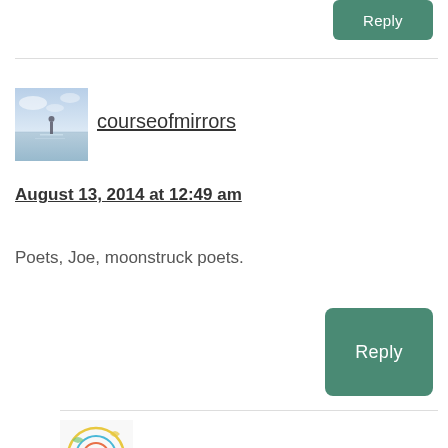[Figure (other): Partial green Reply button visible at top right]
[Figure (photo): Small avatar image showing a person standing in calm water with a misty horizon — courseofmirrors profile picture]
courseofmirrors
August 13, 2014 at 12:49 am
Poets, Joe, moonstruck poets.
Reply
[Figure (illustration): Small avatar doodle image — Joe Linker profile picture with colorful swirl illustration]
Joe Linker